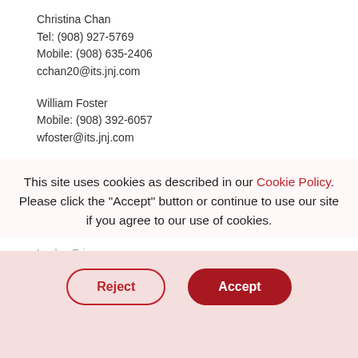Christina Chan
Tel: (908) 927-5769
Mobile: (908) 635-2406
cchan20@its.jnj.com
William Foster
Mobile: (908) 392-6057
wfoster@its.jnj.com
Investor Relations Contacts:
Johnson & Johnson
Joseph J. Wolk
Tel: (732) 524-1142
Lesley Friman
Tel: (732) 524-0323
This site uses cookies as described in our Cookie Policy. Please click the "Accept" button or continue to use our site if you agree to our use of cookies.
Reject
Accept